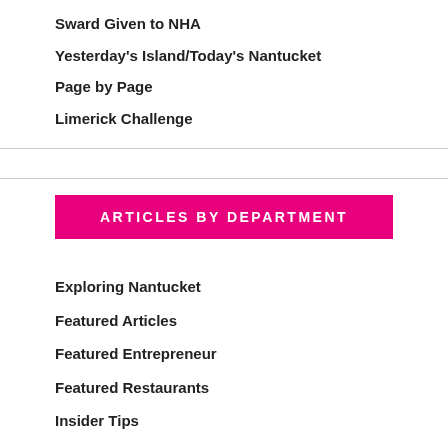Sward Given to NHA
Yesterday's Island/Today's Nantucket
Page by Page
Limerick Challenge
ARTICLES BY DEPARTMENT
Exploring Nantucket
Featured Articles
Featured Entrepreneur
Featured Restaurants
Insider Tips
Island Cooking